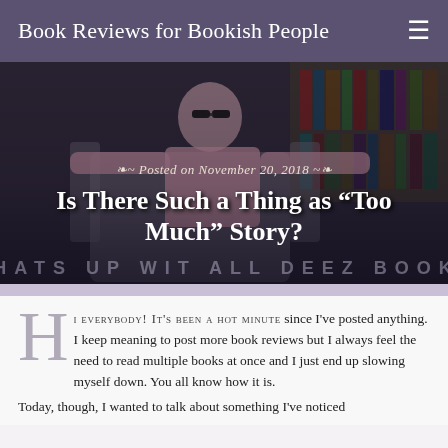Book Reviews for Bookish People
[Figure (photo): Person in sunglasses and pink sweater leaning back in a chair in front of bookshelves, with overlaid text 'Posted on November 20, 2018', article title 'Is There Such a Thing as “Too Much” Story?', and watermark text 'WHATS UP WIT ALL DEEZ BOOKS']
Is There Such a Thing as “Too Much” Story?
Posted on November 20, 2018
HI EVERYBODY! IT’S BEEN A HOT MINUTE since I’ve posted anything. I keep meaning to post more book reviews but I always feel the need to read multiple books at once and I just end up slowing myself down. You all know how it is.
Today, though, I wanted to talk about something I’ve noticed